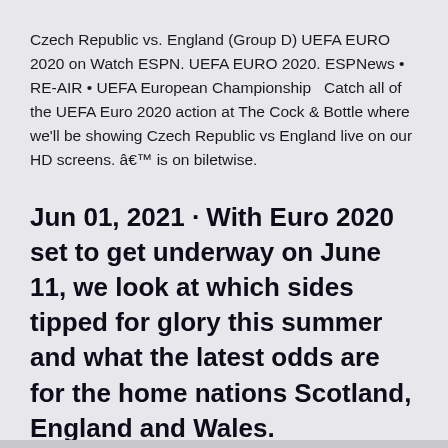Czech Republic vs. England (Group D) UEFA EURO 2020 on Watch ESPN. UEFA EURO 2020. ESPNews • RE-AIR • UEFA European Championship  Catch all of the UEFA Euro 2020 action at The Cock & Bottle where we'll be showing Czech Republic vs England live on our HD screens. â€™ is on biletwise.
Jun 01, 2021 · With Euro 2020 set to get underway on June 11, we look at which sides tipped for glory this summer and what the latest odds are for the home nations Scotland, England and Wales.